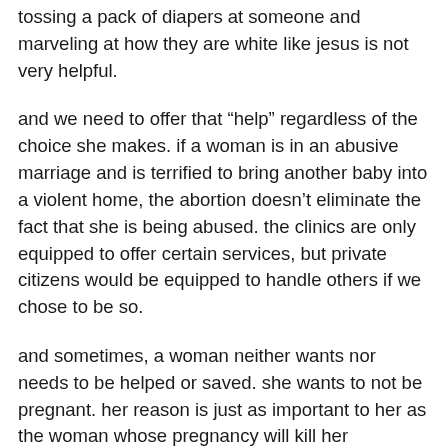tossing a pack of diapers at someone and marveling at how they are white like jesus is not very helpful.
and we need to offer that “help” regardless of the choice she makes. if a woman is in an abusive marriage and is terrified to bring another baby into a violent home, the abortion doesn’t eliminate the fact that she is being abused. the clinics are only equipped to offer certain services, but private citizens would be equipped to handle others if we chose to be so.
and sometimes, a woman neither wants nor needs to be helped or saved. she wants to not be pregnant. her reason is just as important to her as the woman whose pregnancy will kill her